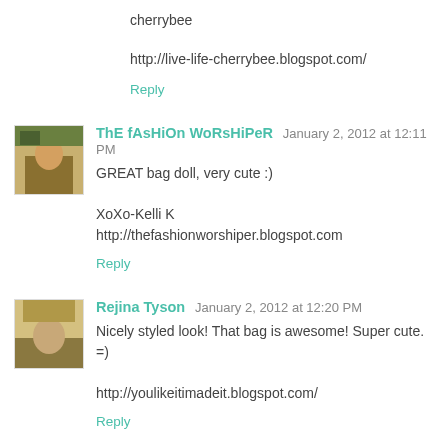cherrybee
http://live-life-cherrybee.blogspot.com/
Reply
ThE fAsHiOn WoRsHiPeR  January 2, 2012 at 12:11 PM
GREAT bag doll, very cute :)
XoXo-Kelli K
http://thefashionworshiper.blogspot.com
Reply
Rejina Tyson  January 2, 2012 at 12:20 PM
Nicely styled look! That bag is awesome! Super cute. =)
http://youlikeitimadeit.blogspot.com/
Reply